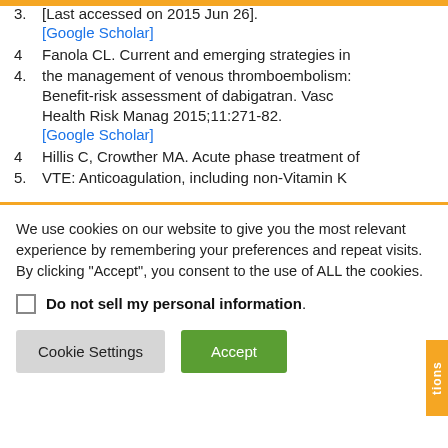3. [Last accessed on 2015 Jun 26].
[Google Scholar]
4. Fanola CL. Current and emerging strategies in the management of venous thromboembolism: Benefit-risk assessment of dabigatran. Vasc Health Risk Manag 2015;11:271-82.
[Google Scholar]
4. Hillis C, Crowther MA. Acute phase treatment of
5. VTE: Anticoagulation, including non-Vitamin K
We use cookies on our website to give you the most relevant experience by remembering your preferences and repeat visits. By clicking “Accept”, you consent to the use of ALL the cookies.
Do not sell my personal information.